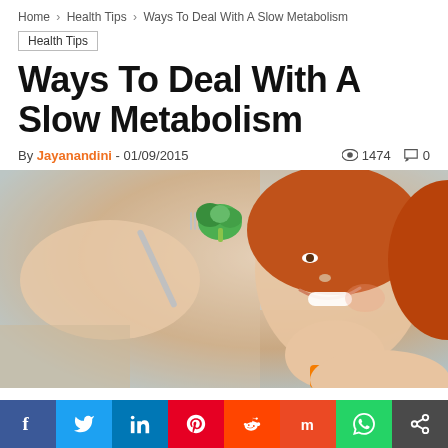Home › Health Tips › Ways To Deal With A Slow Metabolism
Health Tips
Ways To Deal With A Slow Metabolism
By Jayanandini - 01/09/2015  👁 1474  💬 0
[Figure (photo): Smiling woman with red hair holding a fork with broccoli, looking at the food happily]
[Figure (infographic): Social sharing bar with icons for Facebook, Twitter, LinkedIn, Pinterest, Reddit, StumbleUpon, WhatsApp, and Share]